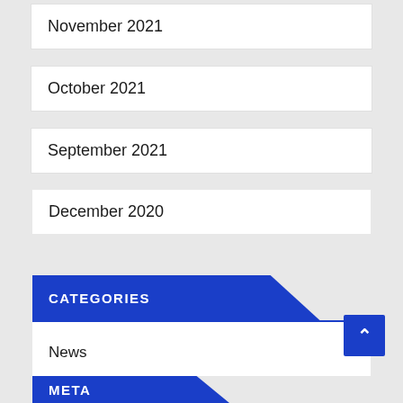November 2021
October 2021
September 2021
December 2020
CATEGORIES
News
META